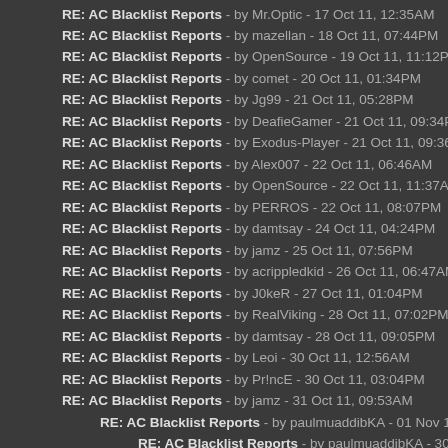RE: AC Blacklist Reports - by Mr.Optic - 17 Oct 11, 12:35AM
RE: AC Blacklist Reports - by mazellan - 18 Oct 11, 07:44PM
RE: AC Blacklist Reports - by OpenSource - 19 Oct 11, 11:12PM
RE: AC Blacklist Reports - by comet - 20 Oct 11, 01:34PM
RE: AC Blacklist Reports - by Jg99 - 21 Oct 11, 05:28PM
RE: AC Blacklist Reports - by DeafieGamer - 21 Oct 11, 09:34PM
RE: AC Blacklist Reports - by Exodus-Player - 21 Oct 11, 09:36PM
RE: AC Blacklist Reports - by Alex007 - 22 Oct 11, 06:46AM
RE: AC Blacklist Reports - by OpenSource - 22 Oct 11, 11:37AM
RE: AC Blacklist Reports - by PERROS - 22 Oct 11, 08:07PM
RE: AC Blacklist Reports - by damtsay - 24 Oct 11, 04:24PM
RE: AC Blacklist Reports - by jamz - 25 Oct 11, 07:56PM
RE: AC Blacklist Reports - by acrippledkid - 26 Oct 11, 06:47AM
RE: AC Blacklist Reports - by J0keR - 27 Oct 11, 01:04PM
RE: AC Blacklist Reports - by RealViking - 28 Oct 11, 07:02PM
RE: AC Blacklist Reports - by damtsay - 28 Oct 11, 09:05PM
RE: AC Blacklist Reports - by Leoi - 30 Oct 11, 12:56AM
RE: AC Blacklist Reports - by Pr!ncE - 30 Oct 11, 03:04PM
RE: AC Blacklist Reports - by jamz - 31 Oct 11, 09:53AM
RE: AC Blacklist Reports - by paulmuaddibKA - 01 Nov 11, 09:44PM
RE: AC Blacklist Reports - by paulmuaddibKA - 30 Nov 11, 06:48PM
RE: AC Blacklist Reports - by c00kie - 01 Nov 11, 07:36PM
RE: AC Blacklist Reports - by PERROS - 01 Nov 11, 11:03PM
RE: AC Blacklist Reports - by Alex007 - 04 Nov 11, 04:45AM
RE: AC Blacklist Reports - by |FOX|Exia - 05 Nov 11, 05:32AM